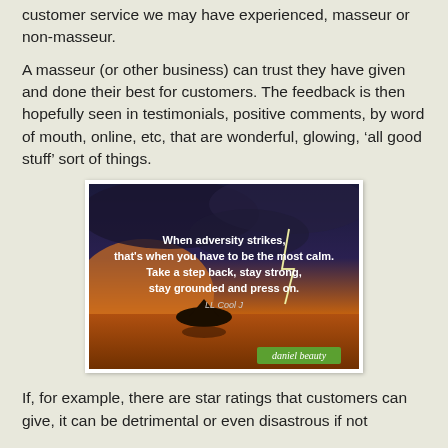customer service we may have experienced, masseur or non-masseur.
A masseur (or other business) can trust they have given and done their best for customers. The feedback is then hopefully seen in testimonials, positive comments, by word of mouth, online, etc, that are wonderful, glowing, ‘all good stuff’ sort of things.
[Figure (photo): Inspirational quote image over a dramatic sunset/lightning sky with a rock island silhouette reflected in water. Text reads: 'When adversity strikes, that's when you have to be the most calm. Take a step back, stay strong, stay grounded and press on. LL Cool J'. Daniel beauty branding in bottom right corner.]
If, for example, there are star ratings that customers can give, it can be detrimental or even disastrous if not